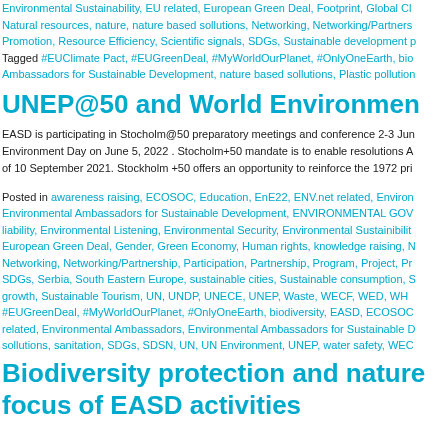Environmental Sustainability, EU related, European Green Deal, Footprint, Global Cl... Natural resources, nature, nature based sollutions, Networking, Networking/Partners... Promotion, Resource Efficiency, Scientific signals, SDGs, Sustainable development p...
Tagged #EUClimate Pact, #EUGreenDeal, #MyWorldOurPlanet, #OnlyOneEarth, bio... Ambassadors for Sustainable Development, nature based sollutions, Plastic pollution...
UNEP@50 and World Environmen...
EASD is participating in Stocholm@50 preparatory meetings and conference 2-3 Jun... Environment Day on June 5, 2022 . Stocholm+50 mandate is to enable resolutions A... of 10 September 2021. Stockholm +50 offers an opportunity to reinforce the 1972 pri...
Posted in awareness raising, ECOSOC, Education, EnE22, ENV.net related, Environ... Environmental Ambassadors for Sustainable Development, ENVIRONMENTAL GOV... liability, Environmental Listening, Environmental Security, Environmental Sustainibilit... European Green Deal, Gender, Green Economy, Human rights, knowledge raising, N... Networking, Networking/Partnership, Participation, Partnership, Program, Project, Pr... SDGs, Serbia, South Eastern Europe, sustainable cities, Sustainable consumption, S... growth, Sustainable Tourism, UN, UNDP, UNECE, UNEP, Waste, WECF, WED, WH... #EUGreenDeal, #MyWorldOurPlanet, #OnlyOneEarth, biodiversity, EASD, ECOSOC... related, Environmental Ambassadors, Environmental Ambassadors for Sustainable D... sollutions, sanitation, SDGs, SDSN, UN, UN Environment, UNEP, water safety, WEC...
Biodiversity protection and nature... focus of EASD activities